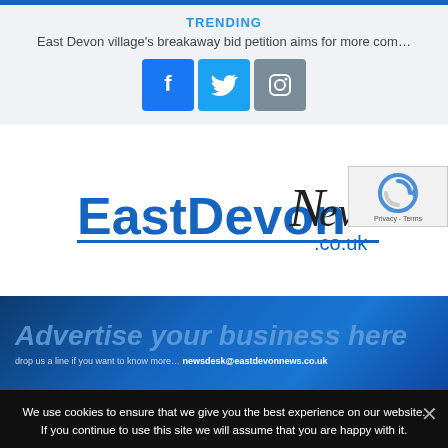TRENDING
East Devon village's breakaway bid petition aims for more com...
[Figure (logo): Facebook, Twitter, and Instagram social media icons]
[Figure (logo): EastDevon News .co.uk logo with reCAPTCHA badge]
[Figure (infographic): Advertise your business here banner. Drop us a line if you want to know more... newsdesk@eastdevonnews.co.uk]
We use cookies to ensure that we give you the best experience on our website. If you continue to use this site we will assume that you are happy with it.